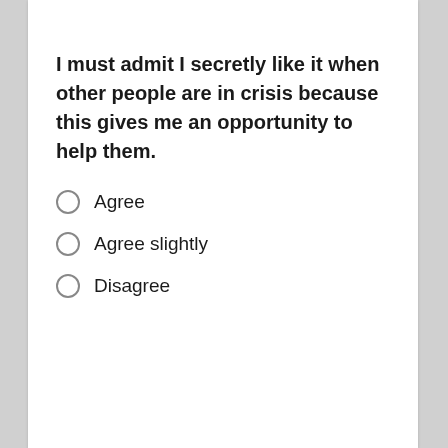I must admit I secretly like it when other people are in crisis because this gives me an opportunity to help them.
Agree
Agree slightly
Disagree